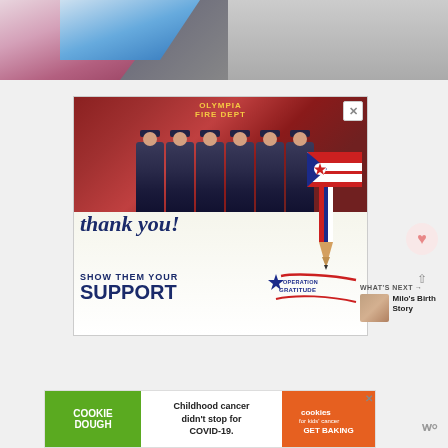[Figure (photo): Close-up photo of fabric or clothing with pink, blue, and white colors — appears to be a flag or blanket with stripes]
[Figure (photo): Advertisement for Operation Gratitude showing firefighters from Olympia Fire Department standing in front of a fire truck with boxes of supplies. Text reads 'thank you! SHOW THEM YOUR SUPPORT OPERATION GRATITUDE']
[Figure (photo): Advertisement: Cookie Dough — Childhood cancer didn't stop for COVID-19. Cookies for Kids Cancer — GET BAKING. With a close X button.]